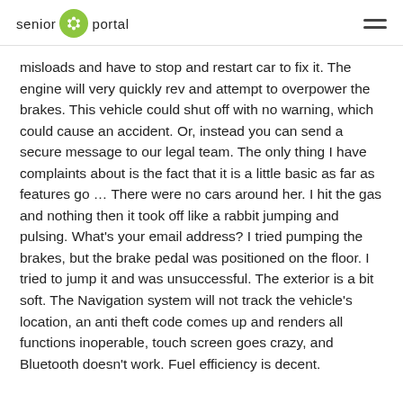senior portal
misloads and have to stop and restart car to fix it. The engine will very quickly rev and attempt to overpower the brakes. This vehicle could shut off with no warning, which could cause an accident. Or, instead you can send a secure message to our legal team. The only thing I have complaints about is the fact that it is a little basic as far as features go ... There were no cars around her. I hit the gas and nothing then it took off like a rabbit jumping and pulsing. What's your email address? I tried pumping the brakes, but the brake pedal was positioned on the floor. I tried to jump it and was unsuccessful. The exterior is a bit soft. The Navigation system will not track the vehicle's location, an anti theft code comes up and renders all functions inoperable, touch screen goes crazy, and Bluetooth doesn't work. Fuel efficiency is decent.